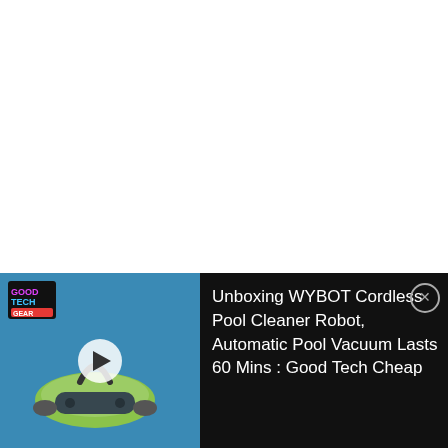What is it?
The Mophie 3-in-1 wireless charger is a charging stand made to charge your iPhone, Apple Watch, Air Pods, and Air Pods Pro all at the same time.  The charger features 'fast' charging for your phone by
[Figure (screenshot): Video player bar at bottom showing a WYBOT Cordless Pool Cleaner Robot thumbnail on the left with a play button and Good Tech Cheap logo, and video title text on the right with a close button.]